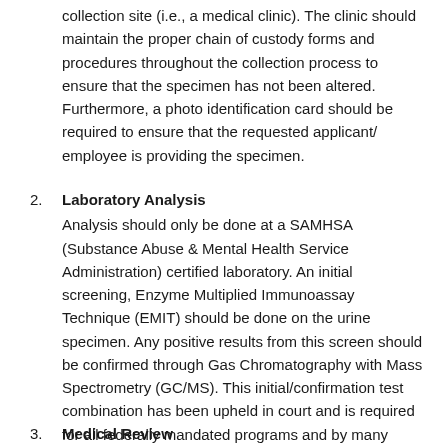collection site (i.e., a medical clinic). The clinic should maintain the proper chain of custody forms and procedures throughout the collection process to ensure that the specimen has not been altered. Furthermore, a photo identification card should be required to ensure that the requested applicant/ employee is providing the specimen.
2. Laboratory Analysis
Analysis should only be done at a SAMHSA (Substance Abuse & Mental Health Service Administration) certified laboratory. An initial screening, Enzyme Multiplied Immunoassay Technique (EMIT) should be done on the urine specimen. Any positive results from this screen should be confirmed through Gas Chromatography with Mass Spectrometry (GC/MS). This initial/confirmation test combination has been upheld in court and is required for all federally mandated programs and by many states.
3. Medical Review